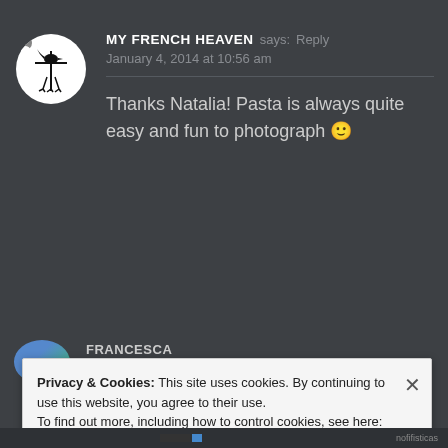MY FRENCH HEAVEN says: Reply
January 4, 2014 at 10:56 am
Thanks Natalia! Pasta is always quite easy and fun to photograph 🙂
FRANCESCA
Privacy & Cookies: This site uses cookies. By continuing to use this website, you agree to their use.
To find out more, including how to control cookies, see here: Cookie Policy
Close and accept